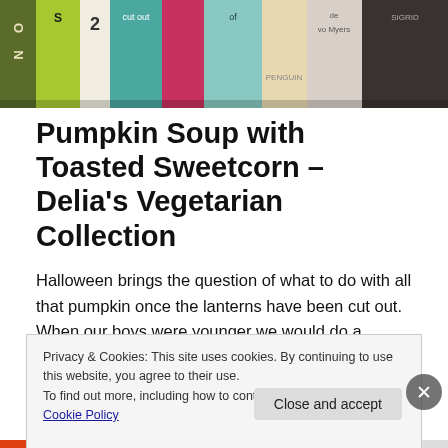[Figure (photo): Photo of colorful book spines on a shelf, viewed from the side]
Pumpkin Soup with Toasted Sweetcorn – Delia's Vegetarian Collection
Halloween brings the question of what to do with all that pumpkin once the lanterns have been cut out. When our boys were younger we would do a children's tea party for
Privacy & Cookies: This site uses cookies. By continuing to use this website, you agree to their use.
To find out more, including how to control cookies, see here: Cookie Policy
Close and accept